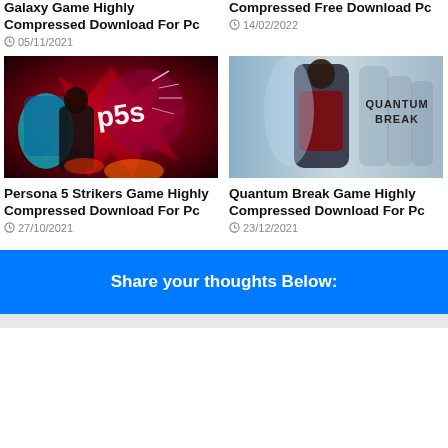Galaxy Game Highly Compressed Download For Pc
05/11/2021
Compressed Free Download Pc
14/02/2022
[Figure (photo): Persona 5 Strikers game cover art with anime characters and P5S logo]
[Figure (photo): Quantum Break game cover art with characters and Quantum Break logo]
Persona 5 Strikers Game Highly Compressed Download For Pc
27/10/2021
Quantum Break Game Highly Compressed Download For Pc
23/12/2021
Share your thoughts Below: